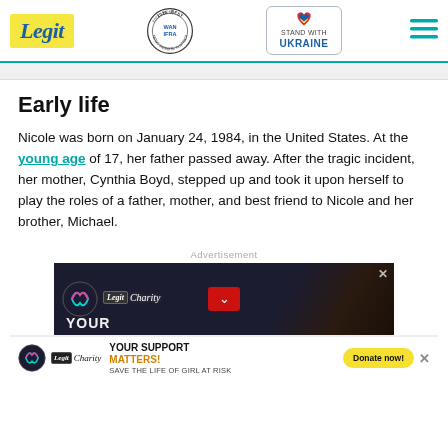Legit — Best News Website in Africa 2021 WAN-IFRA — Stand with Ukraine
Early life
Nicole was born on January 24, 1984, in the United States. At the young age of 17, her father passed away. After the tragic incident, her mother, Cynthia Boyd, stepped up and took it upon herself to play the roles of a father, mother, and best friend to Nicole and her brother, Michael.
[Figure (screenshot): Advertisement banner for Legit Charity / WARIF with text 'YOUR SUPPORT MATTERS! SAVE THE LIFE OF GIRL AT RISK' and a Donate now button]